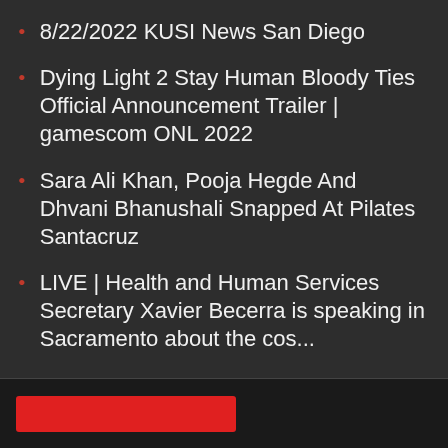8/22/2022 KUSI News San Diego
Dying Light 2 Stay Human Bloody Ties Official Announcement Trailer | gamescom ONL 2022
Sara Ali Khan, Pooja Hegde And Dhvani Bhanushali Snapped At Pilates Santacruz
LIVE | Health and Human Services Secretary Xavier Becerra is speaking in Sacramento about the cos...